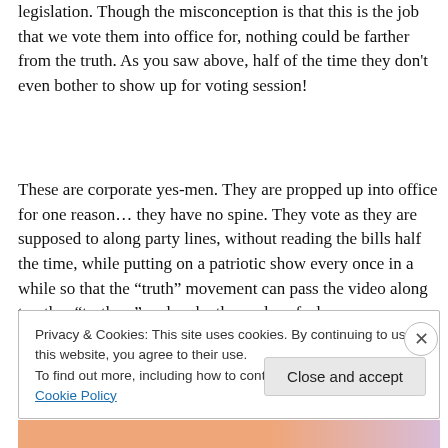legislation. Though the misconception is that this is the job that we vote them into office for, nothing could be farther from the truth. As you saw above, half of the time they don't even bother to show up for voting session!
These are corporate yes-men. They are propped up into office for one reason… they have no spine. They vote as they are supposed to along party lines, without reading the bills half the time, while putting on a patriotic show every once in a while so that the “truth” movement can pass the video along to other “truthers” and make themselves feel
Privacy & Cookies: This site uses cookies. By continuing to use this website, you agree to their use.
To find out more, including how to control cookies, see here: Cookie Policy
Close and accept